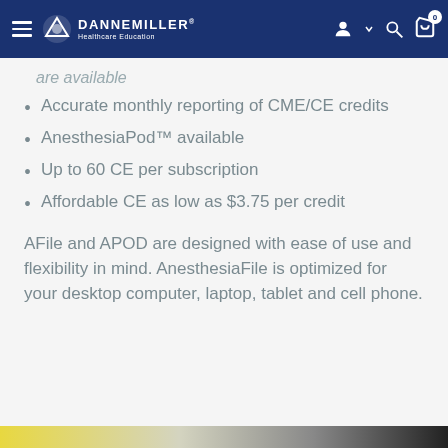Dannemiller Healthcare Education — navigation bar
are available
Accurate monthly reporting of CME/CE credits
AnesthesiaPod™ available
Up to 60 CE per subscription
Affordable CE as low as $3.75 per credit
AFile and APOD are designed with ease of use and flexibility in mind. AnesthesiaFile is optimized for your desktop computer, laptop, tablet and cell phone.